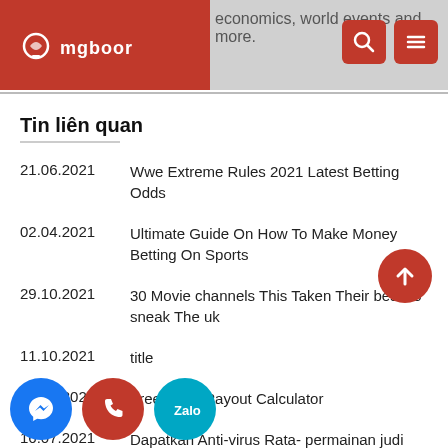economics, world events and more. | mgboor
Tin liên quan
21.06.2021 — Wwe Extreme Rules 2021 Latest Betting Odds
02.04.2021 — Ultimate Guide On How To Make Money Betting On Sports
29.10.2021 — 30 Movie channels This Taken Their best To sneak The uk
11.10.2021 — title
24.05.2021 — Free Odds Payout Calculator
16.07.2021 — Dapatkan Anti-virus Rata- permainan judi slot online a 1 atis 21 93209